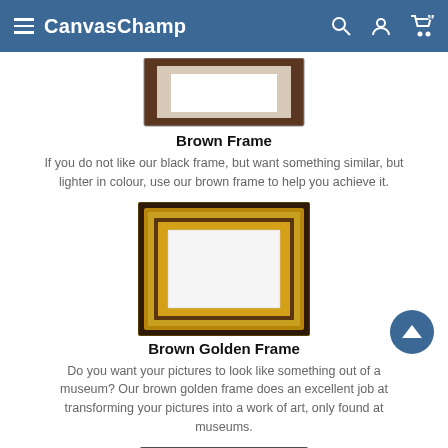CanvasChamp
[Figure (photo): Partial top view of a brown wooden picture frame with white mat and dark wood border]
Brown Frame
If you do not like our black frame, but want something similar, but lighter in colour, use our brown frame to help you achieve it.
[Figure (photo): Brown golden ornate picture frame with gold inner border and white center, placed against a light wall]
Brown Golden Frame
Do you want your pictures to look like something out of a museum? Our brown golden frame does an excellent job at transforming your pictures into a work of art, only found at museums.
[Figure (photo): Partial view of a dark charcoal/black picture frame with white mat, shown at bottom of page]